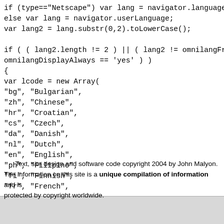if (type=="Netscape") var lang = navigator.language;
else var lang = navigator.userLanguage;
var lang2 = lang.substr(0,2).toLowerCase();

if ( ( lang2.length != 2 ) || ( lang2 != omnilangFrom 
omnilangDisplayAlways == 'yes' ) )
{
var lcode = new Array(
"bg", "Bulgarian",
"zh", "Chinese",
"hr", "Croatian",
"cs", "Czech",
"da", "Danish",
"nl", "Dutch",
"en", "English",
"ph", "Filipino",
"fi", "Finnish",
"fr", "French",
Text, site design and software code copyright 2004 by John Malyon. The information on this site is a unique compilation of information and is protected by copyright worldwide.